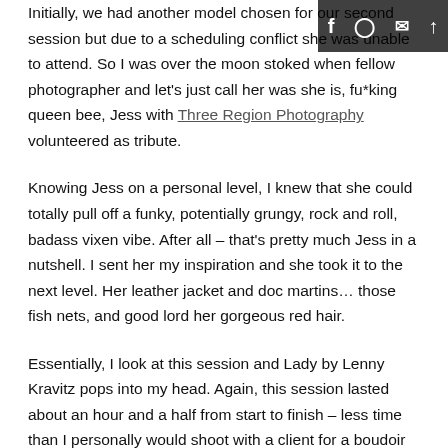Initially, we had another model chosen for our second session but due to a scheduling conflict she was unable to attend. So I was over the moon stoked when fellow photographer and let's just call her was she is, fu*king queen bee, Jess with Three Region Photography volunteered as tribute.
Knowing Jess on a personal level, I knew that she could totally pull off a funky, potentially grungy, rock and roll, badass vixen vibe. After all – that's pretty much Jess in a nutshell. I sent her my inspiration and she took it to the next level. Her leather jacket and doc martins… those fish nets, and good lord her gorgeous red hair.
Essentially, I look at this session and Lady by Lenny Kravitz pops into my head. Again, this session lasted about an hour and a half from start to finish – less time than I personally would shoot with a client for a boudoir session, but after this session was lunch and a short presentation by Olive Bear
[Figure (other): Social media icon bar (top right corner) with Facebook, Instagram, email, and share/up-arrow icons on dark background]